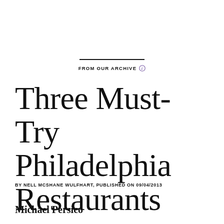FROM OUR ARCHIVE
Three Must-Try Philadelphia Restaurants
BY NELL MCSHANE WULFHART, PUBLISHED ON 09/04/2013
Michael Persico